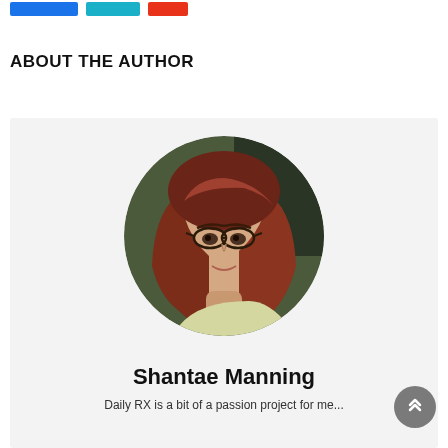[social share buttons: blue, teal, red]
ABOUT THE AUTHOR
[Figure (photo): Circular portrait photo of a young woman with long auburn/red wavy hair and glasses, wearing a light-colored top, set against a blurred outdoor background. Displayed inside a light gray author card.]
Shantae Manning
Daily RX is a bit of a passion project for me...